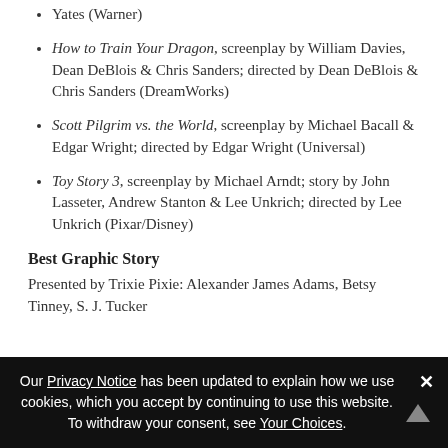Yates (Warner)
How to Train Your Dragon, screenplay by William Davies, Dean DeBlois & Chris Sanders; directed by Dean DeBlois & Chris Sanders (DreamWorks)
Scott Pilgrim vs. the World, screenplay by Michael Bacall & Edgar Wright; directed by Edgar Wright (Universal)
Toy Story 3, screenplay by Michael Arndt; story by John Lasseter, Andrew Stanton & Lee Unkrich; directed by Lee Unkrich (Pixar/Disney)
Best Graphic Story
Presented by Trixie Pixie: Alexander James Adams, Betsy Tinney, S. J. Tucker
Our Privacy Notice has been updated to explain how we use cookies, which you accept by continuing to use this website. To withdraw your consent, see Your Choices.